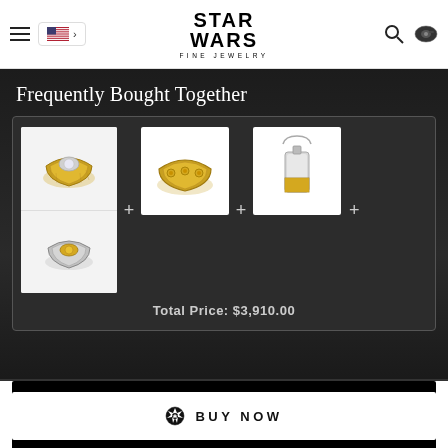Star Wars Fine Jewelry
Frequently Bought Together
[Figure (photo): Three jewelry product images: two rings (stacked) with gold and diamond design, one gold band ring with studs, and one silver pendant necklace with gold accent. Displayed as a 'Frequently Bought Together' bundle with plus signs between items.]
Total Price: $3,910.00
BUY NOW